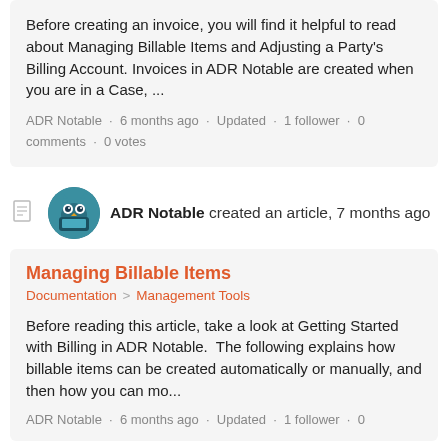Before creating an invoice, you will find it helpful to read about Managing Billable Items and Adjusting a Party's Billing Account. Invoices in ADR Notable are created when you are in a Case, ...
ADR Notable · 6 months ago · Updated · 1 follower · 0 comments · 0 votes
ADR Notable created an article, 7 months ago
Managing Billable Items
Documentation > Management Tools
Before reading this article, take a look at Getting Started with Billing in ADR Notable. The following explains how billable items can be created automatically or manually, and then how you can mo...
ADR Notable · 6 months ago · Updated · 1 follower · 0